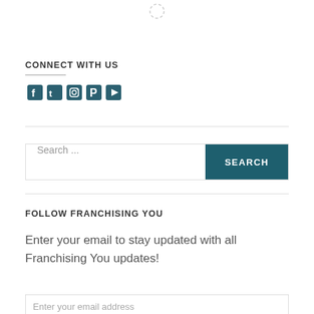[Figure (other): Loading spinner icon at top center of page]
CONNECT WITH US
[Figure (other): Social media icons: Facebook, Twitter, Instagram, Pinterest, YouTube in teal/dark color]
[Figure (other): Search bar with placeholder text 'Search ...' and a teal SEARCH button]
FOLLOW FRANCHISING YOU
Enter your email to stay updated with all Franchising You updates!
[Figure (other): Email input field with placeholder 'Enter your email address']